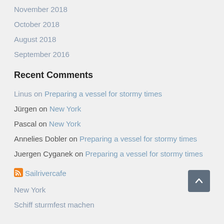November 2018
October 2018
August 2018
September 2016
Recent Comments
Linus on Preparing a vessel for stormy times
Jürgen on New York
Pascal on New York
Annelies Dobler on Preparing a vessel for stormy times
Juergen Cyganek on Preparing a vessel for stormy times
Sailrivercafe
New York
Schiff sturmfest machen